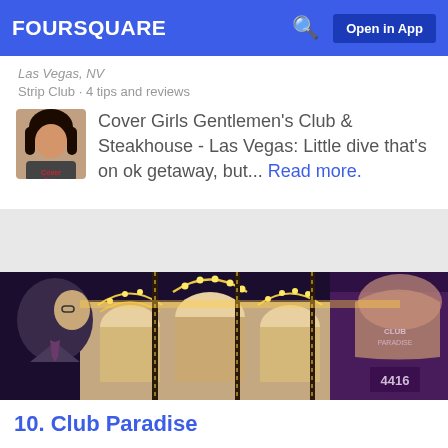FOURSQUARE  Open in App
Las Vegas, NV
Strip Club · 4 tips and reviews
Cover Girls Gentlemen's Club & Steakhouse - Las Vegas: Little dive that's on ok getaway, but... Read more.
[Figure (photo): Night-time exterior photo of Club Paradise, a Las Vegas venue with yellow string lights and illuminated arched facade; a man in a suit is visible in the foreground left.]
10. Club Paradise